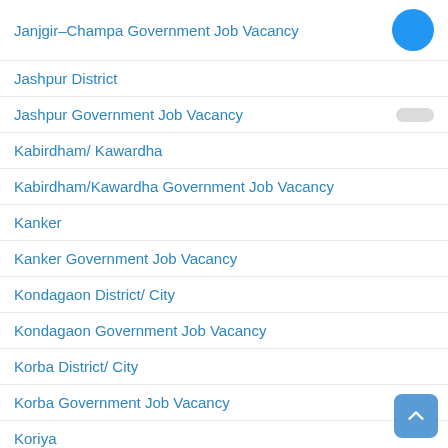Janjgir–Champa Government Job Vacancy
Jashpur District
Jashpur Government Job Vacancy
Kabirdham/ Kawardha
Kabirdham/Kawardha Government Job Vacancy
Kanker
Kanker Government Job Vacancy
Kondagaon District/ City
Kondagaon Government Job Vacancy
Korba District/ City
Korba Government Job Vacancy
Koriya
Koriya Government Job Vacancy
Mahasamund